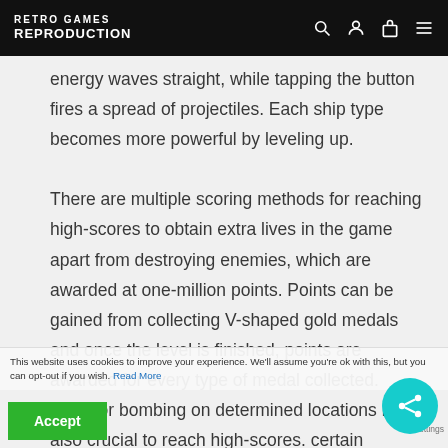RETRO GAMES REPRODUCTION
energy waves straight, while tapping the button fires a spread of projectiles. Each ship type becomes more powerful by leveling up.
There are multiple scoring methods for reaching high-scores to obtain extra lives in the game apart from destroying enemies, which are awarded at one-million points. Points can be gained from collecting V-shaped gold medals and once the level is finished, points are awarded for every type of medal collected. Firing or bombing on determined locations is also crucial to reach high-scores. certain setpieces in some stages hosts bonus secrets within their scenery, as well as
This website uses cookies to improve your experience. We'll assume you're ok with this, but you can opt-out if you wish. Read More